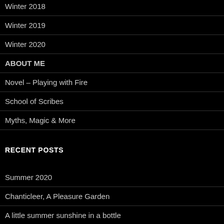Winter 2018
Winter 2019
Winter 2020
ABOUT ME
Novel – Playing with Fire
School of Scribes
Myths, Magic & More
RECENT POSTS
Summer 2020
Chanticleer, A Pleasure Garden
A little summer sunshine in a bottle